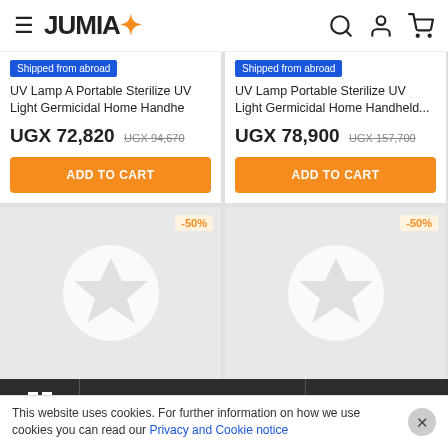JUMIA
Shipped from abroad
UV Lamp A Portable Sterilize UV Light Germicidal Home Handhe
UGX 72,820 UGX 94,670
ADD TO CART
Shipped from abroad
UV Lamp Portable Sterilize UV Light Germicidal Home Handheld...
UGX 78,900 UGX 157,700
ADD TO CART
[Figure (screenshot): Product placeholder with -50% badge and Jumia star logo]
[Figure (screenshot): Product placeholder with -50% badge and Jumia star logo]
PRICE: LOW TO HIGH   FILTERS (1)
This website uses cookies. For further information on how we use cookies you can read our Privacy and Cookie notice